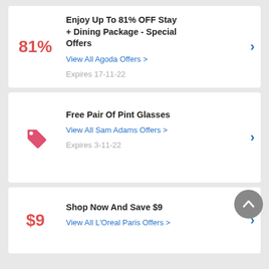81%
Enjoy Up To 81% OFF Stay + Dining Package - Special Offers
View All Agoda Offers >
Expires 17-11-22
[Figure (illustration): Pink/red price tag icon]
Free Pair Of Pint Glasses
View All Sam Adams Offers >
Expires 3-11-22
$9
Shop Now And Save $9
View All L'Oreal Paris Offers >